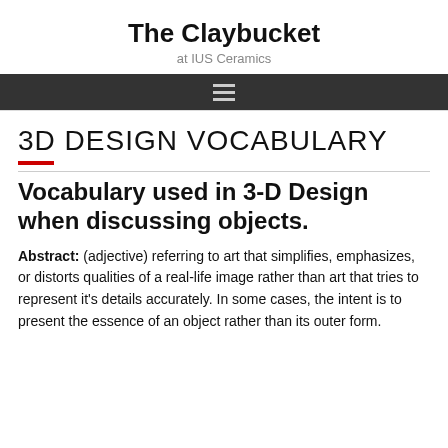The Claybucket
at IUS Ceramics
3D DESIGN VOCABULARY
Vocabulary used in 3-D Design when discussing objects.
Abstract:  (adjective) referring to art that simplifies, emphasizes, or distorts qualities of a real-life image rather than art that tries to represent it's details accurately.  In some cases, the intent is to present the essence of an object rather than its outer form.